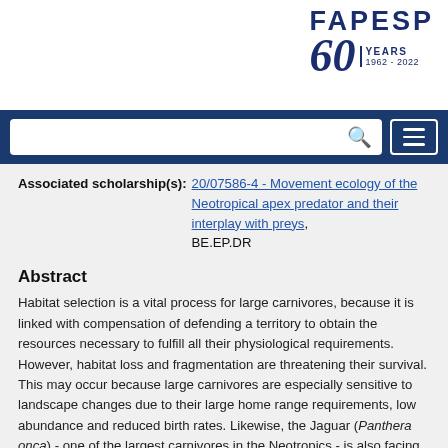[Figure (logo): FAPESP 60 Years 1962-2022 logo]
Associated scholarship(s): 20/07586-4 - Movement ecology of the Neotropical apex predator and their interplay with preys, BE.EP.DR
Abstract
Habitat selection is a vital process for large carnivores, because it is linked with compensation of defending a territory to obtain the resources necessary to fulfill all their physiological requirements. However, habitat loss and fragmentation are threatening their survival. This may occur because large carnivores are especially sensitive to landscape changes due to their large home range requirements, low abundance and reduced birth rates. Likewise, the Jaguar (Panthera onca) - one of the largest carnivores in the Neotropics - is also facing population declines associated with factors like declines of their preys' density in natural areas.